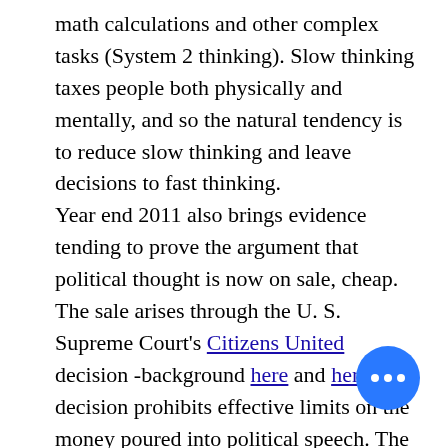math calculations and other complex tasks (System 2 thinking). Slow thinking taxes people both physically and mentally, and so the natural tendency is to reduce slow thinking and leave decisions to fast thinking. Year end 2011 also brings evidence tending to prove the argument that political thought is now on sale, cheap. The sale arises through the U. S. Supreme Court's Citizens United decision -background here and here. The decision prohibits effective limits on the money poured into political speech. The proof of the power of the money – and tight ties to candidates – is arising now through primary elections in I[obscured]. There, about $2.8 million of advert[obscured] by a wealthy super PAC appears to have